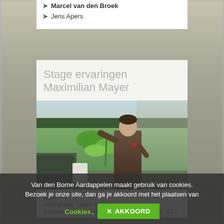Marcel van den Broek
Jens Apers
Stage ervaringen Maximilian Mayer
[Figure (photo): Man in brown jacket standing in a field holding up a plant with green crop field and tree line in the background]
Van den Borne Aardappelen maakt gebruik van cookies. Bezoek je onze site, dan ga je akkoord met het plaatsen van Cookies.
Naam:
Woonplaats:  Lower Aus...
Stageperiode: End of July to end of September 2017